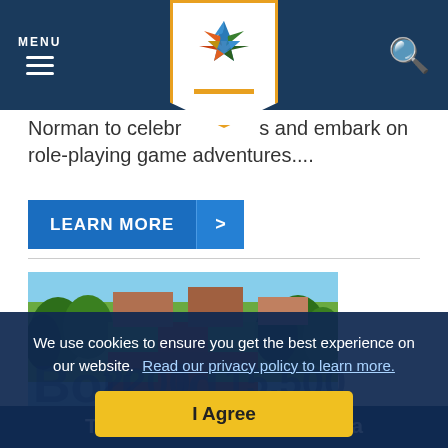MENU [hamburger icon] [OU logo] [search icon]
Norman to celebrate and embark on role-playing game adventures....
LEARN MORE >
[Figure (photo): Aerial view of University of Oklahoma campus showing red brick pathways, green lawns, and trees]
We use cookies to ensure you get the best experience on our website. Read our privacy policy to learn more.
I Agree
The University of Oklahoma